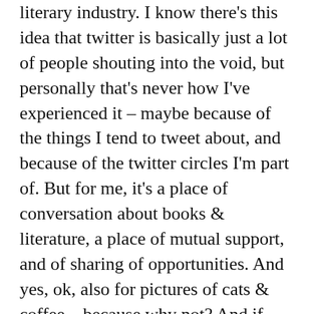literary industry. I know there's this idea that twitter is basically just a lot of people shouting into the void, but personally that's never how I've experienced it – maybe because of the things I tend to tweet about, and because of the twitter circles I'm part of. But for me, it's a place of conversation about books & literature, a place of mutual support, and of sharing of opportunities. And yes, ok, also for pictures of cats & coffee – because why not? And if you don't follow me on twitter and fancy it, then go for it!
32. Glamping: And last, but not least: back on our epic road trip up the west coast of the